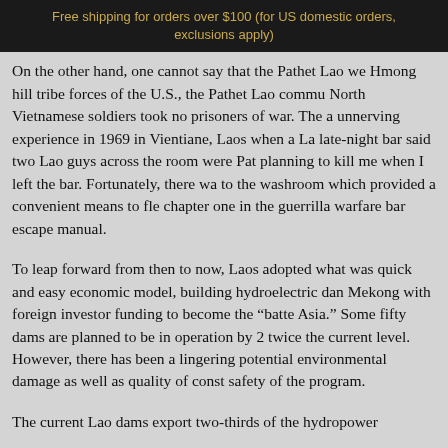Free shipping for orders over $100 (for US domestic orders, exclusions apply)
On the other hand, one cannot say that the Pathet Lao were... Hmong hill tribe forces of the U.S., the Pathet Lao commu... North Vietnamese soldiers took no prisoners of war. The a... unnerving experience in 1969 in Vientiane, Laos when a La... late-night bar said two Lao guys across the room were Pat... planning to kill me when I left the bar. Fortunately, there wa... to the washroom which provided a convenient means to fle... chapter one in the guerrilla warfare bar escape manual.
To leap forward from then to now, Laos adopted what was ... quick and easy economic model, building hydroelectric dam... Mekong with foreign investor funding to become the “batte... Asia.” Some fifty dams are planned to be in operation by 2... twice the current level. However, there has been a lingering... potential environmental damage as well as quality of const... safety of the program.
The current Lao dams export two-thirds of the hydropower...